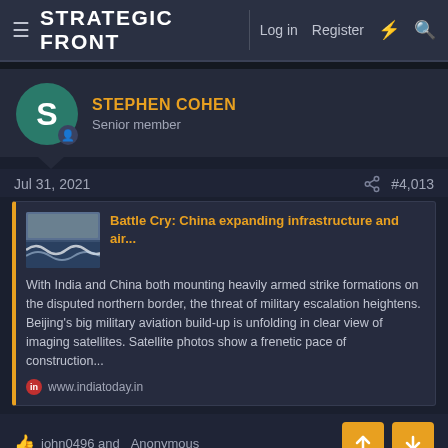STRATEGIC FRONT — Log in   Register
STEPHEN COHEN
Senior member
Jul 31, 2021   #4,013
Battle Cry: China expanding infrastructure and air...
With India and China both mounting heavily armed strike formations on the disputed northern border, the threat of military escalation heightens. Beijing's big military aviation build-up is unfolding in clear view of imaging satellites. Satellite photos show a frenetic pace of construction...
www.indiatoday.in
👍 john0496 and _Anonymous_